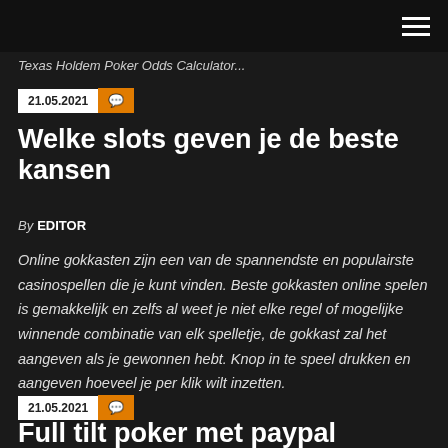Texas Holdem Poker Odds Calculator...
21.05.2021
Welke slots geven je de beste kansen
By EDITOR
Online gokkasten zijn een van de spannendste en populairste casinospellen die je kunt vinden. Beste gokkasten online spelen is gemakkelijk en zelfs al weet je niet elke regel of mogelijke winnende combinatie van elk spelletje, de gokkast zal het aangeven als je gewonnen hebt. Knop in te speel drukken en aangeven hoeveel je per klik wilt inzetten.
21.05.2021
Full tilt poker met paypal